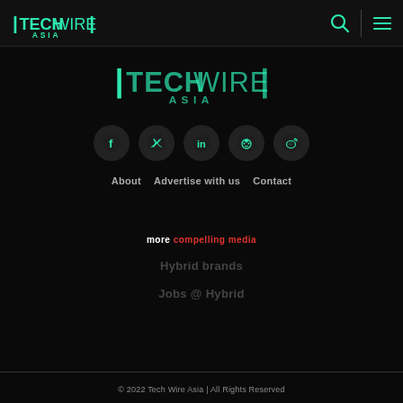TechWire Asia
[Figure (logo): TechWire Asia logo centered, teal/green color on dark background]
[Figure (infographic): Row of 5 social media icon buttons (Facebook, Twitter, LinkedIn, Reddit, Weibo) as dark circles with teal icons]
About   Advertise with us   Contact
more compelling media
Hybrid brands
Jobs @ Hybrid
© 2022 Tech Wire Asia | All Rights Reserved